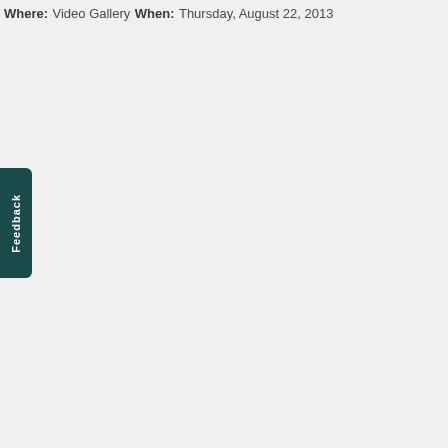Where:
Video Gallery
When:
Thursday, August 22, 2013
[Figure (other): Vertical green feedback tab button on the left side of the page with white text reading 'Feedback']